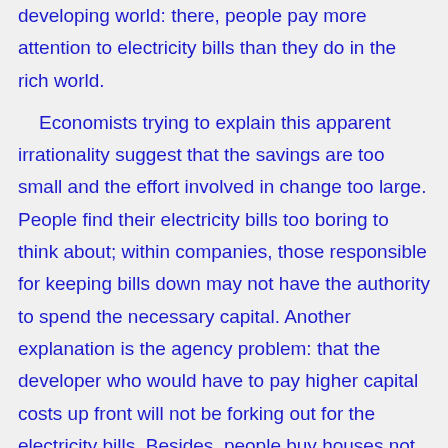developing world: there, people pay more attention to electricity bills than they do in the rich world.
Economists trying to explain this apparent irrationality suggest that the savings are too small and the effort involved in change too large. People find their electricity bills too boring to think about; within companies, those responsible for keeping bills down may not have the authority to spend the necessary capital. Another explanation is the agency problem: that the developer who would have to pay higher capital costs up front will not be forking out for the electricity bills. Besides, people buy houses not because they have good insulation but